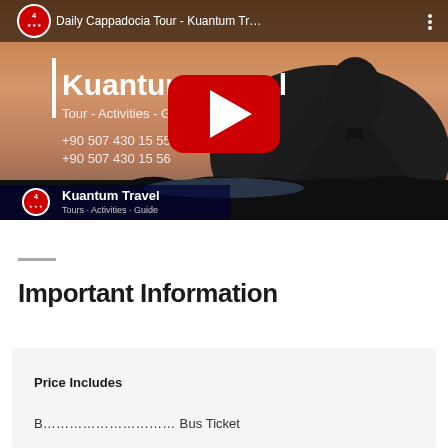[Figure (screenshot): YouTube video thumbnail for 'Daily Cappadocia Tour - Kuantum Tr...' showing a Kuantum Travel promotional video with hot air balloon silhouette against a sunset sky, mountain in background. White text reads 'Kuantum Travel', 'Tour - Activities - Gui...', '+90 507 430 15 55', '+90 507 430 15 56'. Bottom bar shows 'Kuantum Travel / Tours · Activities · Guide'. YouTube play button in red and white is centered. Top bar shows channel logo (red circular badge with '4') and video title with three-dot menu.]
Important Information
Price Includes